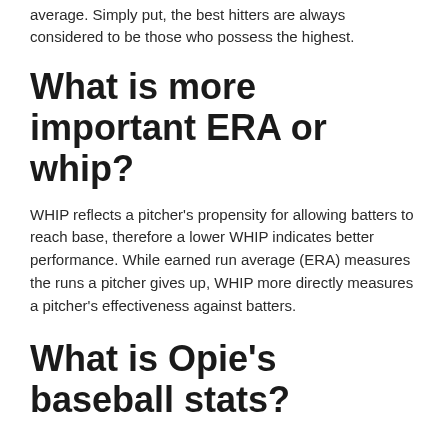average. Simply put, the best hitters are always considered to be those who possess the highest.
What is more important ERA or whip?
WHIP reflects a pitcher’s propensity for allowing batters to reach base, therefore a lower WHIP indicates better performance. While earned run average (ERA) measures the runs a pitcher gives up, WHIP more directly measures a pitcher’s effectiveness against batters.
What is Opie’s baseball stats?